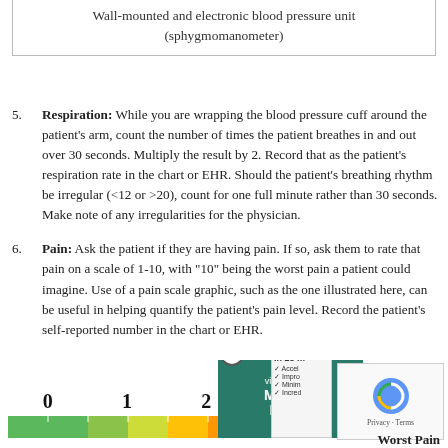Wall-mounted and electronic blood pressure unit (sphygmomanometer)
Respiration: While you are wrapping the blood pressure cuff around the patient's arm, count the number of times the patient breathes in and out over 30 seconds. Multiply the result by 2. Record that as the patient's respiration rate in the chart or EHR. Should the patient's breathing rhythm be irregular (<12 or >20), count for one full minute rather than 30 seconds. Make note of any irregularities for the physician.
Pain: Ask the patient if they are having pain. If so, ask them to rate that pain on a scale of 1-10, with "10" being the worst pain a patient could imagine. Use of a pain scale graphic, such as the one illustrated here, can be useful in helping quantify the patient's pain level. Record the patient's self-reported number in the chart or EHR.
[Figure (infographic): Pain scale graphic showing numbers 0-9 with colored bar segments from green to red, partially obscured by advertisement overlay showing 'Minutes Matter' visby medical ad and a reCAPTCHA widget. 'Worst Pain' label visible at bottom right.]